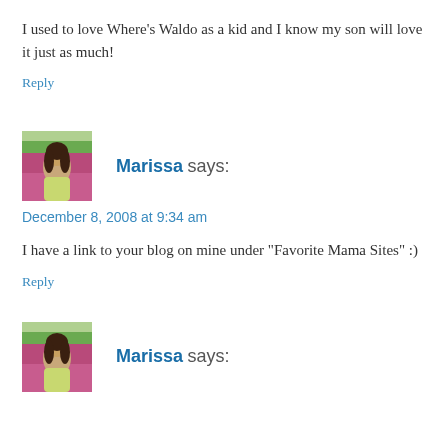I used to love Where's Waldo as a kid and I know my son will love it just as much!
Reply
Marissa says:
December 8, 2008 at 9:34 am
I have a link to your blog on mine under "Favorite Mama Sites" :)
Reply
Marissa says: